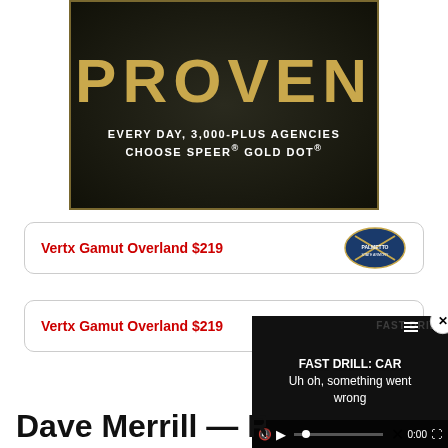[Figure (advertisement): Dark textured background advertisement for Speer Gold Dot ammunition with large gold text 'PROVEN' and white subtext 'EVERY DAY, 3,000-PLUS AGENCIES CHOOSE SPEER® GOLD DOT®']
Vertx Gamut Overland $219
[Figure (logo): Palmetto State Armory logo — shield with rifles and text]
Vertx Gamut Overland $219
[Figure (screenshot): Video player overlay showing FAST DRILL: CAR with error message 'Uh oh, something went wrong' and video controls including play button, mute, progress bar showing 0:00, and fullscreen button]
Dave Merrill — R